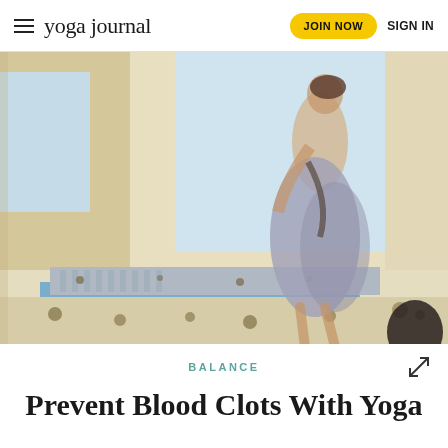yoga journal | JOIN NOW | SIGN IN
[Figure (photo): A woman walking in a flowing gray skirt and lace-up sandals with a bag, set against a Mediterranean-style terrace with a pool and cactus garden in the background]
BALANCE
Prevent Blood Clots With Yoga